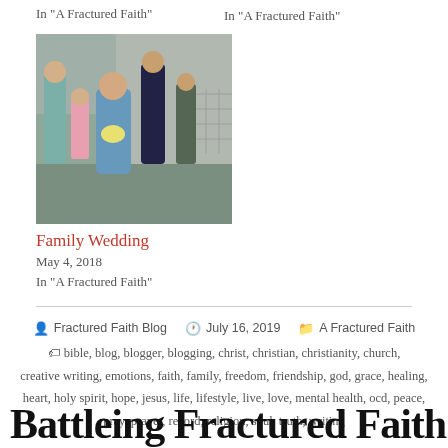In "A Fractured Faith"
In "A Fractured Faith"
[Figure (photo): Group of people at a family wedding, including children in formal attire, outdoors.]
Family Wedding
May 4, 2018
In "A Fractured Faith"
Fractured Faith Blog · July 16, 2019 · A Fractured Faith
bible, blog, blogger, blogging, christ, christian, christianity, church, creative writing, emotions, faith, family, freedom, friendship, god, grace, healing, heart, holy spirit, hope, jesus, life, lifestyle, live, love, mental health, ocd, peace, pray, prayer, record, religion, soul, truth, writing
Battleing Fractured Faith